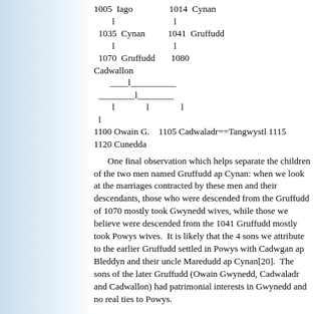[Figure (other): Genealogical chart showing Welsh rulers: 1005 Iago and 1014 Cynan, each with 'l' descent marks, leading to 1035 Cynan and 1041 Gruffudd, then 1070 Gruffudd and 1080 Cadwallon, with branching lines showing descendants: 1100 Owain G., 1105 Cadwaladr==Tangwystl, 1115, 1120 Cunedda]
One final observation which helps separate the children of the two men named Gruffudd ap Cynan: when we look at the marriages contracted by these men and their descendants, those who were descended from the Gruffudd of 1070 mostly took Gwynedd wives, while those we believe were descended from the 1041 Gruffudd mostly took Powys wives. It is likely that the 4 sons we attribute to the earlier Gruffudd settled in Powys with Cadwgan ap Bleddyn and their uncle Maredudd ap Cynan[20]. The sons of the later Gruffudd (Owain Gwynedd, Cadwaladr and Cadwallon) had patrimonial interests in Gwynedd and no real ties to Powys.